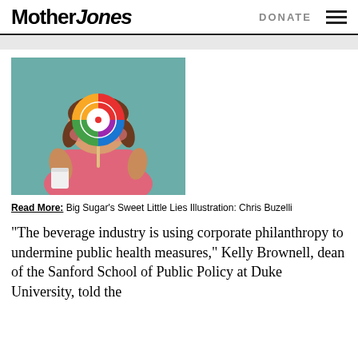Mother Jones   DONATE
[Figure (illustration): Illustration of a chubby young girl with brown hair, rosy cheeks, holding a large colorful swirl lollipop in front of her face and a white cup in her other hand, against a teal background. Illustrated style.]
Read More: Big Sugar's Sweet Little Lies Illustration: Chris Buzelli
“The beverage industry is using corporate philanthropy to undermine public health measures,” Kelly Brownell, dean of the Sanford School of Public Policy at Duke University, told the